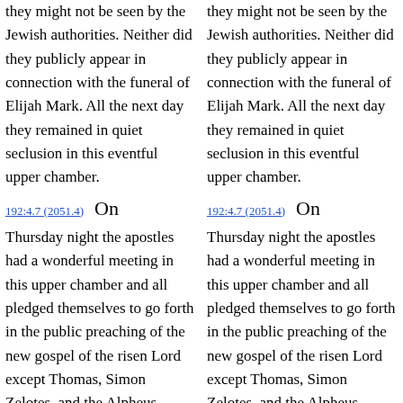they might not be seen by the Jewish authorities. Neither did they publicly appear in connection with the funeral of Elijah Mark. All the next day they remained in quiet seclusion in this eventful upper chamber.
192:4.7 (2051.4)   On Thursday night the apostles had a wonderful meeting in this upper chamber and all pledged themselves to go forth in the public preaching of the new gospel of the risen Lord except Thomas, Simon Zelotes, and the Alpheus twins. Already had
they might not be seen by the Jewish authorities. Neither did they publicly appear in connection with the funeral of Elijah Mark. All the next day they remained in quiet seclusion in this eventful upper chamber.
192:4.7 (2051.4)   On Thursday night the apostles had a wonderful meeting in this upper chamber and all pledged themselves to go forth in the public preaching of the new gospel of the risen Lord except Thomas, Simon Zelotes, and the Alpheus twins. Already had